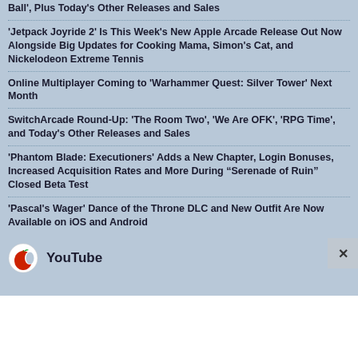Ball', Plus Today's Other Releases and Sales
'Jetpack Joyride 2' Is This Week's New Apple Arcade Release Out Now Alongside Big Updates for Cooking Mama, Simon's Cat, and Nickelodeon Extreme Tennis
Online Multiplayer Coming to 'Warhammer Quest: Silver Tower' Next Month
SwitchArcade Round-Up: 'The Room Two', 'We Are OFK', 'RPG Time', and Today's Other Releases and Sales
'Phantom Blade: Executioners' Adds a New Chapter, Login Bonuses, Increased Acquisition Rates and More During “Serenade of Ruin” Closed Beta Test
'Pascal's Wager' Dance of the Throne DLC and New Outfit Are Now Available on iOS and Android
[Figure (logo): Apple-related YouTube logo with red apple icon and 'YouTube' text, with an X close button]